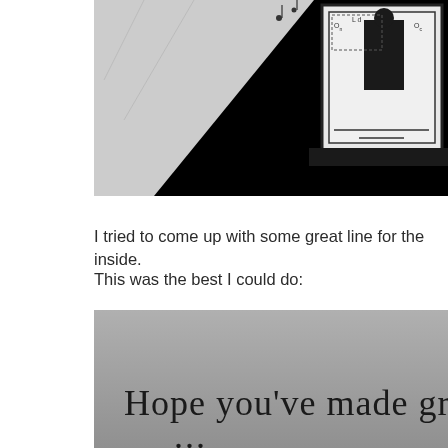[Figure (photo): Top portion of a black and white photo showing a diagonal composition with black and white areas, and a framed image/poster visible on the right side with a figure and technical-looking annotations.]
I tried to come up with some great line for the inside.
This was the best I could do:
[Figure (photo): A gray-toned photo of an inside card message written in handwritten-style font reading 'Hope you've made great...' with partial text visible at bottom. The background is a gradient gray.]